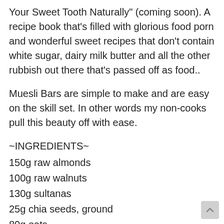Your Sweet Tooth Naturally" (coming soon). A recipe book that's filled with glorious food porn and wonderful sweet recipes that don't contain white sugar, dairy milk butter and all the other rubbish out there that's passed off as food..
Muesli Bars are simple to make and are easy on the skill set. In other words my non-cooks pull this beauty off with ease.
~INGREDIENTS~
150g raw almonds
100g raw walnuts
130g sultanas
25g chia seeds, ground
80g oats
1/2 tsp cinnamon powder
75ml maple syrup